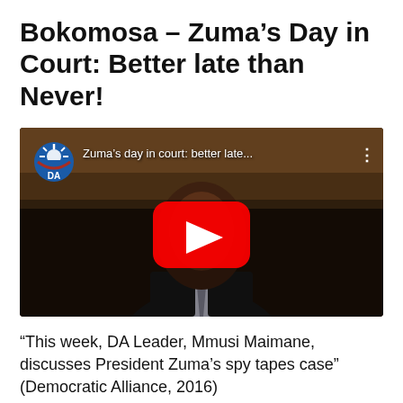Bokomosa – Zuma's Day in Court: Better late than Never!
[Figure (screenshot): YouTube video thumbnail showing DA Leader Mmusi Maimane in a suit and tie, with the DA logo in the top-left corner and the title 'Zuma's day in court: better late...' and a red YouTube play button in the center.]
“This week, DA Leader, Mmusi Maimane, discusses President Zuma’s spy tapes case” (Democratic Alliance, 2016)